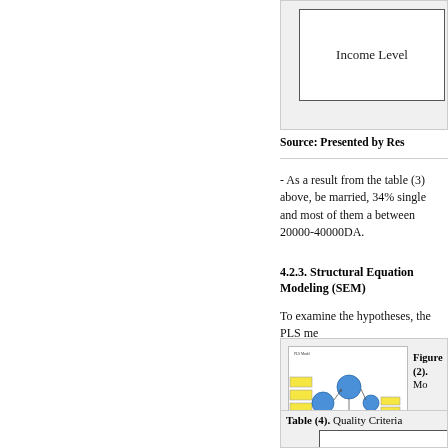[Figure (table-as-image): Partial table showing 'Income Level' column header, clipped at page top-right]
Source: Presented by Res
- As a result from the table (3) above, be married, 34% single and most of them a between 20000-40000DA.
4.2.3. Structural Equation Modeling (SEM)
To examine the hypotheses, the PLS me
[Figure (network-graph): SEM path model diagram with yellow rectangular nodes and blue circular nodes connected by arrows]
Figure (2). Mo
| Table (4). Quality Criteria |
| --- |